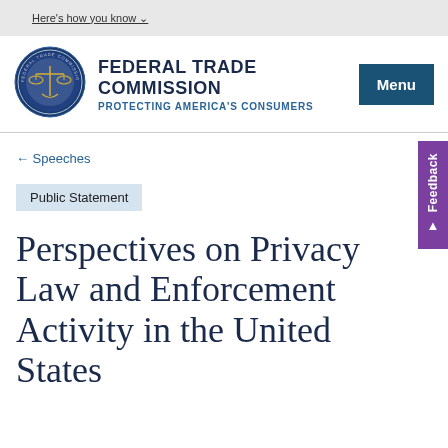Here's how you know
[Figure (logo): Federal Trade Commission official seal — circular blue and gold emblem with scales of justice]
FEDERAL TRADE COMMISSION
PROTECTING AMERICA'S CONSUMERS
Menu
← Speeches
Public Statement
Perspectives on Privacy Law and Enforcement Activity in the United States